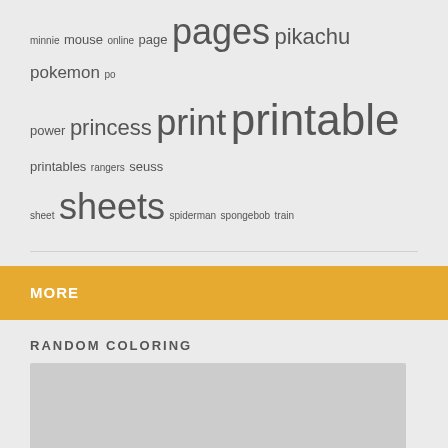minnie mouse online page pages pages pikachu pokemon princess power princess print printable printables rangers seuss sheet sheets spiderman spongebob train
MORE
RANDOM COLORING
[Figure (other): Light gray placeholder image box]